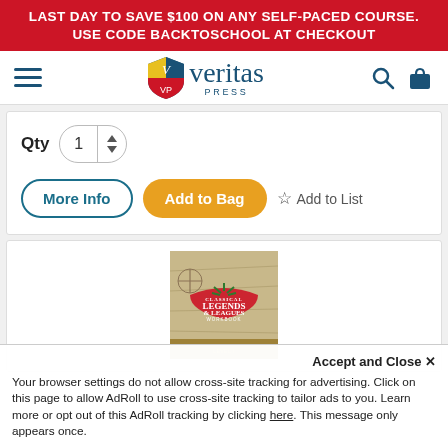LAST DAY TO SAVE $100 ON ANY SELF-PACED COURSE. USE CODE BACKTOSCHOOL AT CHECKOUT
[Figure (logo): Veritas Press logo with shield icon and stylized text]
Qty 1
More Info | Add to Bag | ☆ Add to List
[Figure (photo): Legends & Leagues workbook cover with vintage map background]
Accept and Close ✕
Your browser settings do not allow cross-site tracking for advertising. Click on this page to allow AdRoll to use cross-site tracking to tailor ads to you. Learn more or opt out of this AdRoll tracking by clicking here. This message only appears once.